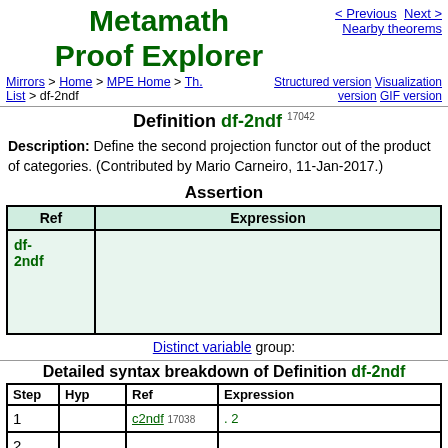Metamath Proof Explorer
< Previous   Next >   Nearby theorems
Mirrors > Home > MPE Home > Th. List > df-2ndf   Structured version  Visualization version  GIF version
Definition df-2ndf 17042
Description: Define the second projection functor out of the product of categories. (Contributed by Mario Carneiro, 11-Jan-2017.)
Assertion
| Ref | Expression |
| --- | --- |
| df-2ndf |  |
Distinct variable group:
Detailed syntax breakdown of Definition df-2ndf
| Step | Hyp | Ref | Expression |
| --- | --- | --- | --- |
| 1 |  | c2ndf 17038 | . 2 |
| 2 |  |  |  |